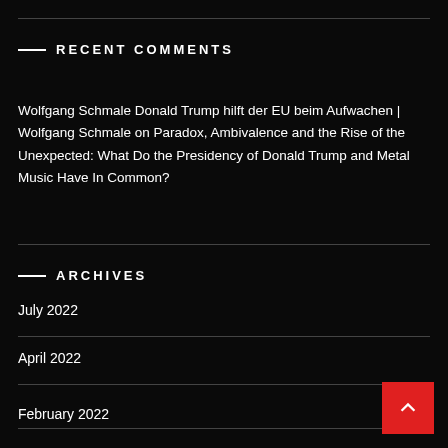RECENT COMMENTS
Wolfgang Schmale Donald Trump hilft der EU beim Aufwachen | Wolfgang Schmale on Paradox, Ambivalence and the Rise of the Unexpected: What Do the Presidency of Donald Trump and Metal Music Have In Common?
ARCHIVES
July 2022
April 2022
February 2022